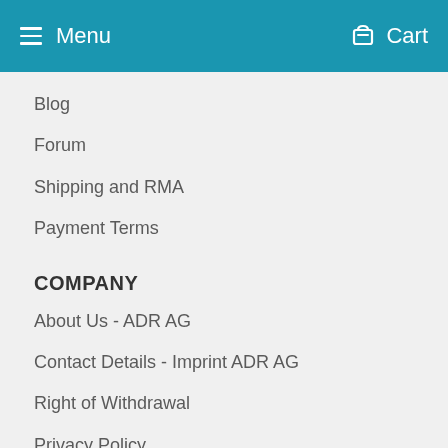Menu   Cart
Blog
Forum
Shipping and RMA
Payment Terms
COMPANY
About Us - ADR AG
Contact Details - Imprint ADR AG
Right of Withdrawal
Privacy Policy
AGB
NEWSLETTER
Promotions, new products and sales. Directly to your inbox.